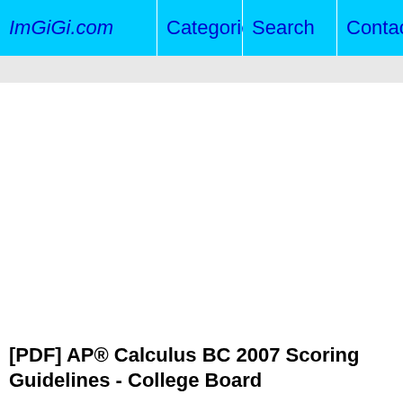ImGiGi.com   Categories   Search   Contact
[PDF] AP® Calculus BC 2007 Scoring Guidelines - College Board